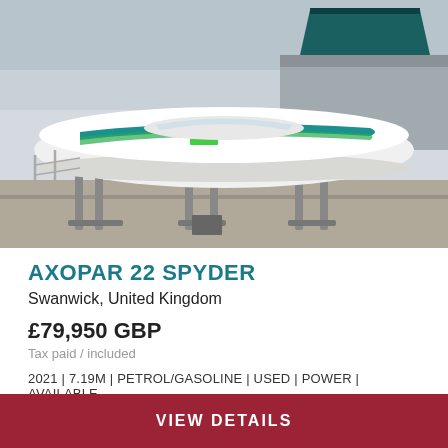[Figure (photo): White Axopar 22 Spyder motorboat on a trailer/stand at a marina, seen from the side. Green and teal accent stripe on hull. Other boats visible in background.]
AXOPAR 22 SPYDER
Swanwick, United Kingdom
£79,950 GBP
Tax paid / included
2021 | 7.19M | PETROL/GASOLINE | USED | POWER | AVAILABLE
Contact Seller
VIEW DETAILS